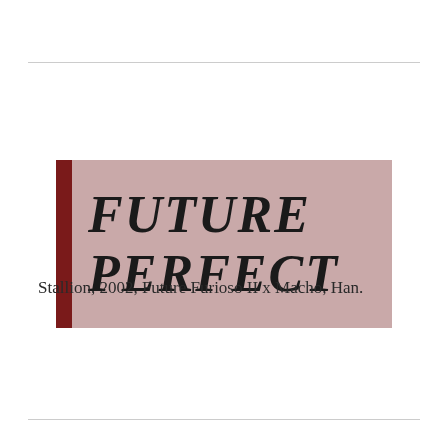FUTURE PERFECT
Stallion, 2002, Future Furioso II x Macho, Han.